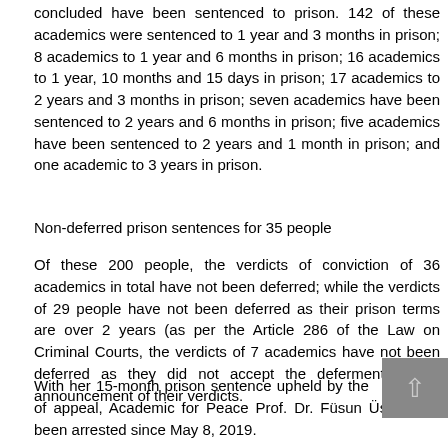concluded have been sentenced to prison. 142 of these academics were sentenced to 1 year and 3 months in prison; 8 academics to 1 year and 6 months in prison; 16 academics to 1 year, 10 months and 15 days in prison; 17 academics to 2 years and 3 months in prison; seven academics have been sentenced to 2 years and 6 months in prison; five academics have been sentenced to 2 years and 1 month in prison; and one academic to 3 years in prison.
Non-deferred prison sentences for 35 people
Of these 200 people, the verdicts of conviction of 36 academics in total have not been deferred; while the verdicts of 29 people have not been deferred as their prison terms are over 2 years (as per the Article 286 of the Law on Criminal Courts, the verdicts of 7 academics have not been deferred as they did not accept the deferment of the announcement of their verdicts.
With her 15-month prison sentence upheld by the court of appeal, Academic for Peace Prof. Dr. Füsun Üstel has been arrested since May 8, 2019.